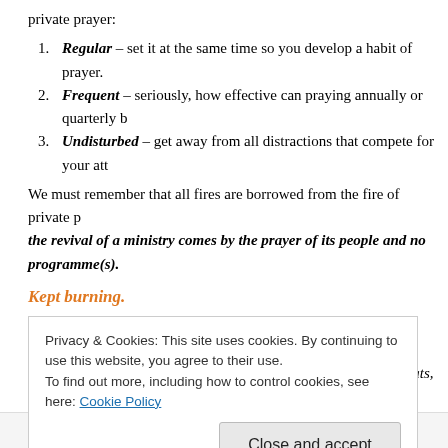private prayer:
Regular – set it at the same time so you develop a habit of prayer.
Frequent – seriously, how effective can praying annually or quarterly b
Undisturbed – get away from all distractions that compete for your att
We must remember that all fires are borrowed from the fire of private p... the revival of a ministry comes by the prayer of its people and no... programme(s).
Kept burning.
It must have been a "holy barbecue" for the priests on duty. I can imag... commencement of their duties, being given the offering (lamb, fats, me... sure they couldn't burn it all at one go as if they were at a Korean grill!... burn it like they were preparing Chinese double-boiled soup. They had
Privacy & Cookies: This site uses cookies. By continuing to use this website, you agree to their use. To find out more, including how to control cookies, see here: Cookie Policy
Close and accept